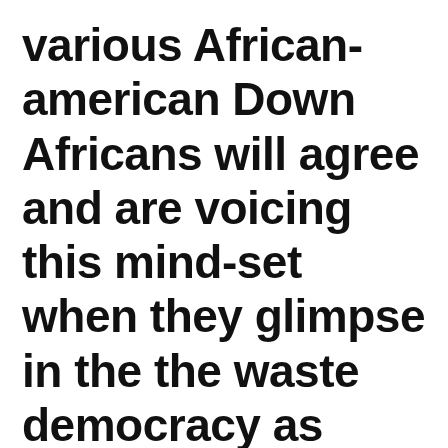various African-american Down Africans will agree and are voicing this mind-set when they glimpse in the the waste democracy as expounded and compounded by their judgment ANC-led